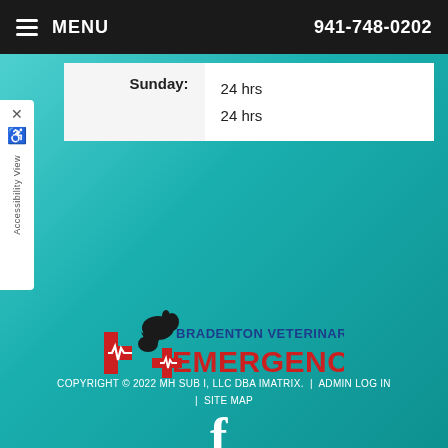MENU  941-748-0202
| Sunday: | 24 hrs
24 hrs |
[Figure (logo): Bradenton Veterinary Emergency logo with dog and cat silhouettes and red cross with heartbeat line]
[Figure (other): Facebook social media icon]
COPYRIGHT © 2022 MH SUB I, LLC DBA IMATRIX.  |  ADMIN LOG IN  |  SITE MAP